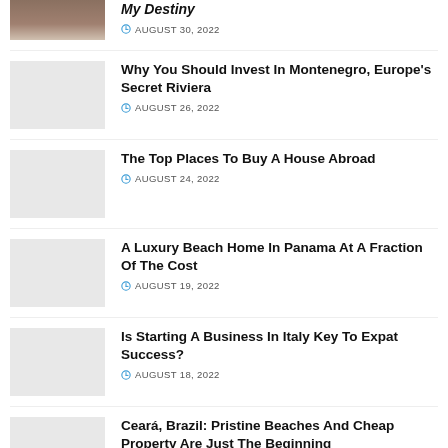My Destiny — AUGUST 30, 2022
Why You Should Invest In Montenegro, Europe's Secret Riviera — AUGUST 26, 2022
The Top Places To Buy A House Abroad — AUGUST 24, 2022
A Luxury Beach Home In Panama At A Fraction Of The Cost — AUGUST 19, 2022
Is Starting A Business In Italy Key To Expat Success? — AUGUST 18, 2022
Ceará, Brazil: Pristine Beaches And Cheap Property Are Just The Beginning